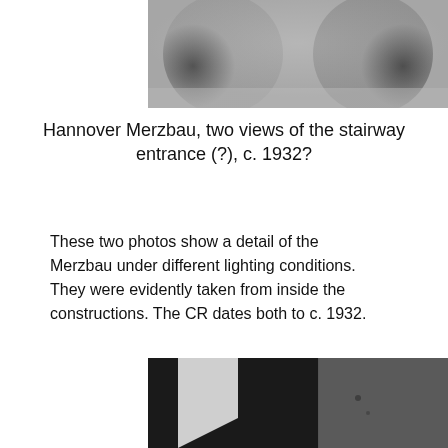[Figure (photo): Top cropped photo of Hannover Merzbau — blurred grayscale abstract architectural detail, partially visible at top of page]
Hannover Merzbau, two views of the stairway entrance (?), c. 1932?
These two photos show a detail of the Merzbau under different lighting conditions. They were evidently taken from inside the constructions. The CR dates both to c. 1932.
[Figure (photo): Bottom cropped photo showing two side-by-side views of the Merzbau interior — dark textured architectural forms with a white angular panel, partially visible at bottom of page]